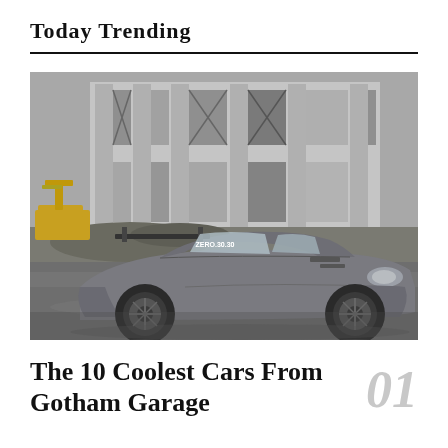Today Trending
[Figure (photo): A modified grey Nissan GT-R with wide body kit, large rear wing labeled ZERO.30.30, photographed in front of an industrial concrete building with yellow construction equipment visible in the background. Black and white / desaturated style photography.]
The 10 Coolest Cars From Gotham Garage
01